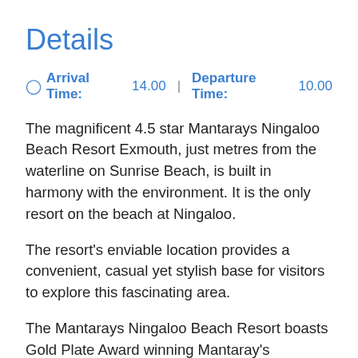Details
⊙ Arrival Time: 14.00  |  Departure Time: 10.00
The magnificent 4.5 star Mantarays Ningaloo Beach Resort Exmouth, just metres from the waterline on Sunrise Beach, is built in harmony with the environment. It is the only resort on the beach at Ningaloo.
The resort's enviable location provides a convenient, casual yet stylish base for visitors to explore this fascinating area.
The Mantarays Ningaloo Beach Resort boasts Gold Plate Award winning Mantaray's Restaurant and Bar where you can enjoy fresh, local seafood. Guests can enjoy the swimming pools, gymnasium and private